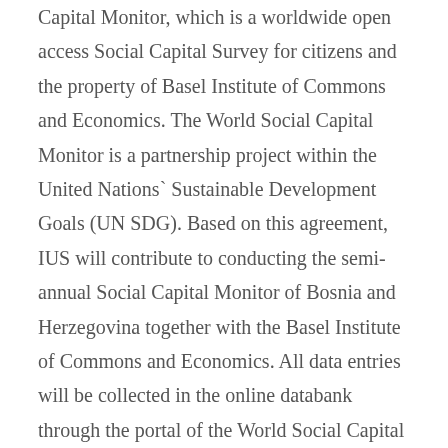Capital Monitor, which is a worldwide open access Social Capital Survey for citizens and the property of Basel Institute of Commons and Economics. The World Social Capital Monitor is a partnership project within the United Nations` Sustainable Development Goals (UN SDG). Based on this agreement, IUS will contribute to conducting the semi-annual Social Capital Monitor of Bosnia and Herzegovina together with the Basel Institute of Commons and Economics. All data entries will be collected in the online databank through the portal of the World Social Capital Monitor: http://trustyourplace.com/. The data will be the property of Basel Institute of Commons and Economics and IUS will receive the survey results in Excel format and is entitled to use